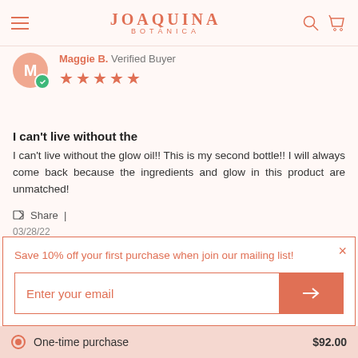JOAQUINA BOTANICA
Maggie B. Verified Buyer ★★★★★
I can't live without the
I can't live without the glow oil!! This is my second bottle!! I will always come back because the ingredients and glow in this product are unmatched!
Share |
03/28/22
Save 10% off your first purchase when join our mailing list!
Enter your email
Orquidea + Vitamin C Hydrating Glow Oil
One-time purchase   $92.00